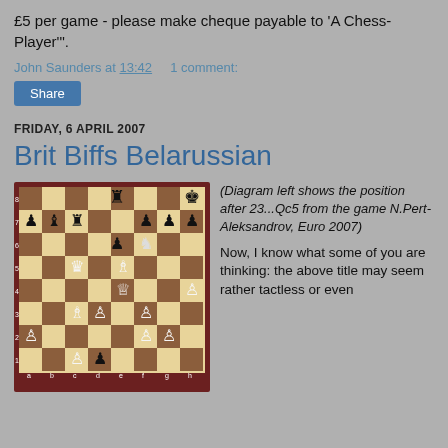£5 per game - please make cheque payable to 'A Chess-Player'".
John Saunders at 13:42   1 comment:
Share
FRIDAY, 6 APRIL 2007
Brit Biffs Belarussian
[Figure (illustration): Chess board diagram showing position after 23...Qc5 from the game N.Pert-Aleksandrov, Euro 2007]
(Diagram left shows the position after 23...Qc5 from the game N.Pert-Aleksandrov, Euro 2007)
Now, I know what some of you are thinking: the above title may seem rather tactless or even